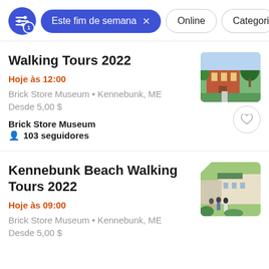Este fim de semana × | Online | Categorias
Walking Tours 2022
Hoje às 12:00
Brick Store Museum • Kennebunk, ME
Desde 5,00 $
Brick Store Museum
103 seguidores
[Figure (photo): Photo of a brick museum building with trees and green lawn]
Kennebunk Beach Walking Tours 2022
Hoje às 09:00
Brick Store Museum • Kennebunk, ME
Desde 5,00 $
[Figure (photo): Photo of people on a walking tour near beach-side buildings with green plants]